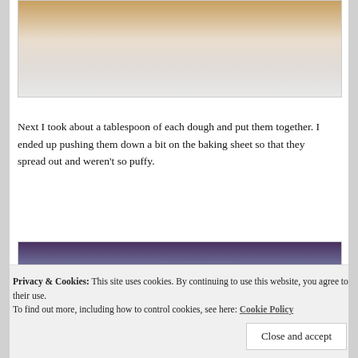[Figure (photo): Partial photo of baked good on a surface, top portion cut off showing a baked item.]
Next I took about a tablespoon of each dough and put them together. I ended up pushing them down a bit on the baking sheet so that they spread out and weren't so puffy.
[Figure (photo): Photo of multiple chocolate and peanut butter cookies on parchment/wax paper on a baking sheet, with a purple background.]
Privacy & Cookies: This site uses cookies. By continuing to use this website, you agree to their use.
To find out more, including how to control cookies, see here: Cookie Policy
Close and accept